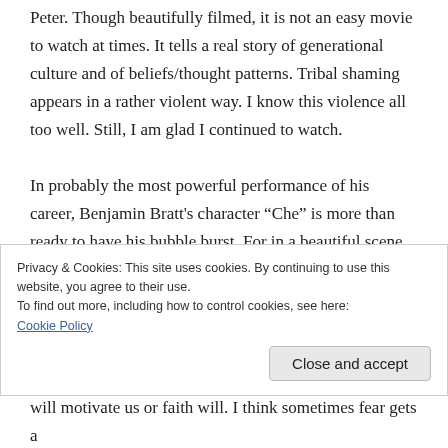Peter. Though beautifully filmed, it is not an easy movie to watch at times. It tells a real story of generational culture and of beliefs/thought patterns. Tribal shaming appears in a rather violent way. I know this violence all too well. Still, I am glad I continued to watch.
In probably the most powerful performance of his career, Benjamin Bratt's character “Che” is more than ready to have his bubble burst. For in a beautiful scene alongside Aztec dancers performing, Che experiences a most compelling moment of clarity. It is in this moment, I feel as one with
Privacy & Cookies: This site uses cookies. By continuing to use this website, you agree to their use.
To find out more, including how to control cookies, see here: Cookie Policy
will motivate us or faith will. I think sometimes fear gets a